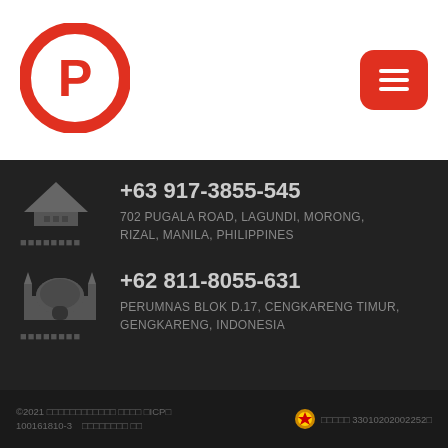[Figure (logo): Circular logo with letter P inside a C shape, red and white, company logo]
[Figure (other): Red rounded rectangle menu/hamburger icon button with three horizontal lines]
[Figure (illustration): Grey silhouette icon of a building/mosque with a triangle roof shape and pixelated dots below]
+63 917-3855-545
702 PUGALA ROAD, LAGUNDI, MORONG, RIZAL, MANILA, PHILIPPINES
[Figure (illustration): Grey silhouette icon of a mosque/temple building with dome and minarets]
+62 811-8055-631
PERUMNAS BLOK D.17, CENGKARENG TIMUR, GENGKARENG, INDONESIA
©2021 □□□□□□□□□□□□ □□□□ □ICP□ 100161810-3　□□□□□□□□ □□  □□□□□ 33010202002252□